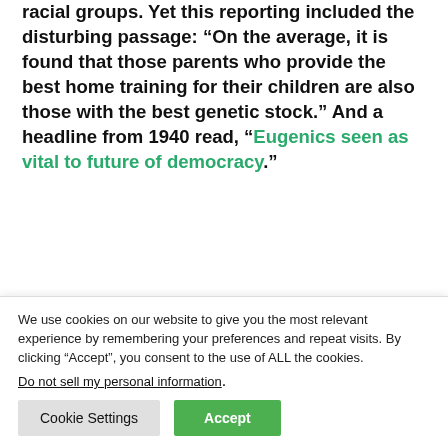racial groups. Yet this reporting included the disturbing passage: “On the average, it is found that those parents who provide the best home training for their children are also those with the best genetic stock.” And a headline from 1940 read, “Eugenics seen as vital to future of democracy.”
It’s not as if eugenics didn’t have critics at the time. Renowned anthropologist Franz Boas denounced it as early as 1916 and continued to do so throughout his career; he saw race as a social not biological construct. Anthropologist
We use cookies on our website to give you the most relevant experience by remembering your preferences and repeat visits. By clicking “Accept”, you consent to the use of ALL the cookies.
Do not sell my personal information.